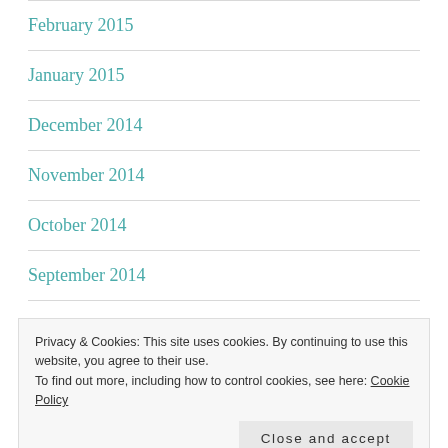February 2015
January 2015
December 2014
November 2014
October 2014
September 2014
August 2014
Privacy & Cookies: This site uses cookies. By continuing to use this website, you agree to their use. To find out more, including how to control cookies, see here: Cookie Policy
May 2014